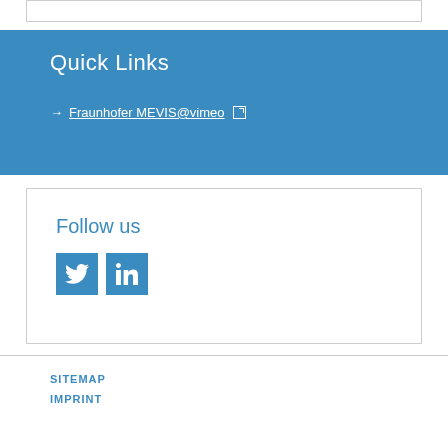Quick Links
→ Fraunhofer MEVIS@vimeo [external link]
Follow us
[Figure (other): Twitter and LinkedIn social media icon buttons in blue]
SITEMAP
IMPRINT